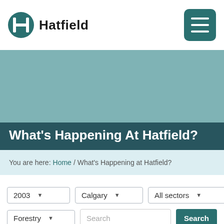Hatfield
[Figure (logo): Hatfield company logo with circular icon and wordmark]
What's Happening At Hatfield?
You are here: Home / What's Happening at Hatfield?
2003 ▾   Calgary ▾   All sectors ▾
Forestry ▾   Search   Search